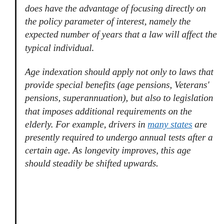does have the advantage of focusing directly on the policy parameter of interest, namely the expected number of years that a law will affect the typical individual.
Age indexation should apply not only to laws that provide special benefits (age pensions, Veterans' pensions, superannuation), but also to legislation that imposes additional requirements on the elderly. For example, drivers in many states are presently required to undergo annual tests after a certain age. As longevity improves, this age should steadily be shifted upwards. Similarly, other troll...